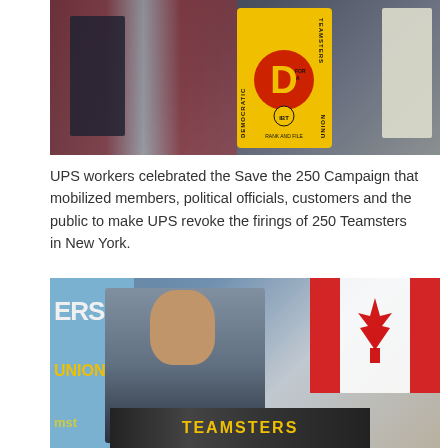[Figure (photo): Photo of UPS/Teamsters workers at an event holding a yellow Teamsters Democratic Union sign with a large D in the center. American flags and people in dark clothing visible in the background.]
UPS workers celebrated the Save the 250 Campaign that mobilized members, political officials, customers and the public to make UPS revoke the firings of 250 Teamsters in New York.
[Figure (photo): Photo of a man speaking at a podium labeled TEAMSTERS. A blue banner with 'ERS UNION' in large letters is visible on the left, and a Canadian flag hangs in the background on the right.]